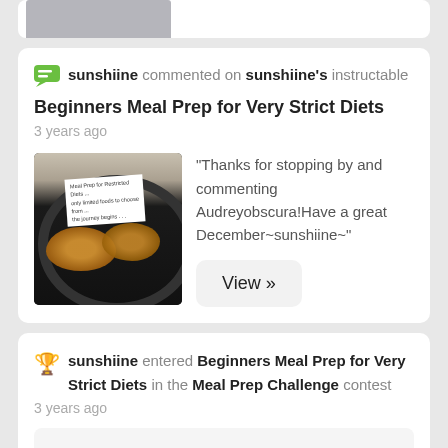[Figure (photo): Partial top of a card with a cropped photo showing what appears to be a person or food image]
sunshiine commented on sunshiine's instructable Beginners Meal Prep for Very Strict Diets
3 years ago
[Figure (photo): Photo of breaded food items cooking in a black skillet on a stove, with a handwritten label in the pan]
"Thanks for stopping by and commenting Audreyobscura!Have a great December~sunshiine~"
View »
sunshiine entered Beginners Meal Prep for Very Strict Diets in the Meal Prep Challenge contest
3 years ago